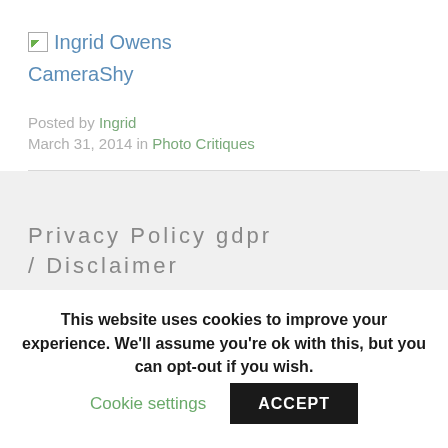[Figure (illustration): Broken image placeholder icon for Ingrid Owens CameraShy website logo]
Ingrid Owens CameraShy
Posted by Ingrid
March 31, 2014 in Photo Critiques
Privacy Policy gdpr / Disclaimer
This website uses cookies to improve your experience. We'll assume you're ok with this, but you can opt-out if you wish.
Cookie settings  ACCEPT